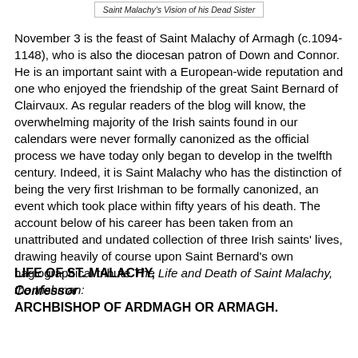Saint Malachy's Vision of his Dead Sister
November 3 is the feast of Saint Malachy of Armagh (c.1094-1148), who is also the diocesan patron of Down and Connor. He is an important saint with a European-wide reputation and one who enjoyed the friendship of the great Saint Bernard of Clairvaux. As regular readers of the blog will know, the overwhelming majority of the Irish saints found in our calendars were never formally canonized as the official process we have today only began to develop in the twelfth century. Indeed, it is Saint Malachy who has the distinction of being the very first Irishman to be formally canonized, an event which took place within fifty years of his death. The account below of his career has been taken from an unattributed and undated collection of three Irish saints' lives, drawing heavily of course upon Saint Bernard's own hagiographical tribute The Life and Death of Saint Malachy, the Irishman:
LIFE OF ST. MALACHY,
Confessor
ARCHBISHOP OF ARDMAGH OR ARMAGH.